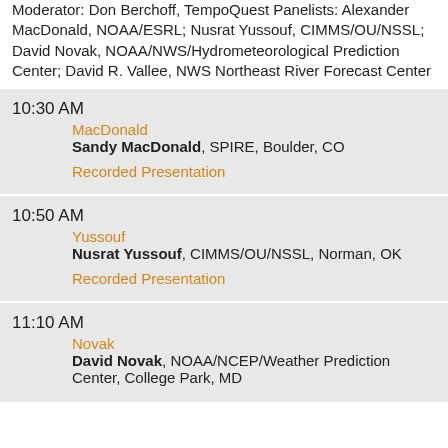Moderator: Don Berchoff, TempoQuest Panelists: Alexander MacDonald, NOAA/ESRL; Nusrat Yussouf, CIMMS/OU/NSSL; David Novak, NOAA/NWS/Hydrometeorological Prediction Center; David R. Vallee, NWS Northeast River Forecast Center
10:30 AM
MacDonald
Sandy MacDonald, SPIRE, Boulder, CO
Recorded Presentation
10:50 AM
Yussouf
Nusrat Yussouf, CIMMS/OU/NSSL, Norman, OK
Recorded Presentation
11:10 AM
Novak
David Novak, NOAA/NCEP/Weather Prediction Center, College Park, MD